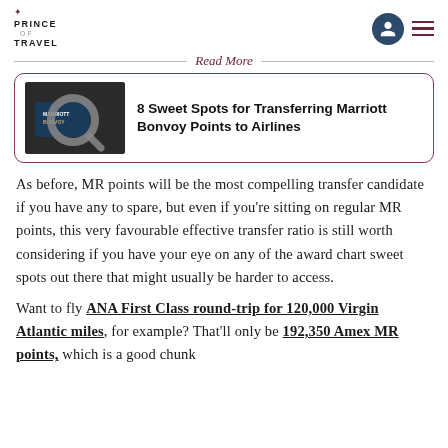PRINCE OF TRAVEL
[Figure (screenshot): Read More box with Marriott Bonvoy card image and article title: 8 Sweet Spots for Transferring Marriott Bonvoy Points to Airlines]
As before, MR points will be the most compelling transfer candidate if you have any to spare, but even if you’re sitting on regular MR points, this very favourable effective transfer ratio is still worth considering if you have your eye on any of the award chart sweet spots out there that might usually be harder to access.
Want to fly ANA First Class round-trip for 120,000 Virgin Atlantic miles, for example? That’ll only be 192,350 Amex MR points, which is a good chunk